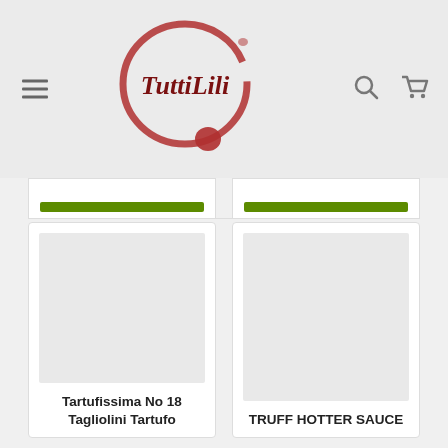[Figure (logo): TuttiLili brand logo: red wine-stain circle with 'TuttiLili' text in dark red handwritten font, with a small red dot below]
[Figure (screenshot): E-commerce product listing page showing two product cards: 'Tartufissima No 18 Tagliolini Tartufo' and 'TRUFF HOTTER SAUCE', each with a light grey product image placeholder and green add-to-cart button strip visible at top]
Tartufissima No 18 Tagliolini Tartufo
TRUFF HOTTER SAUCE